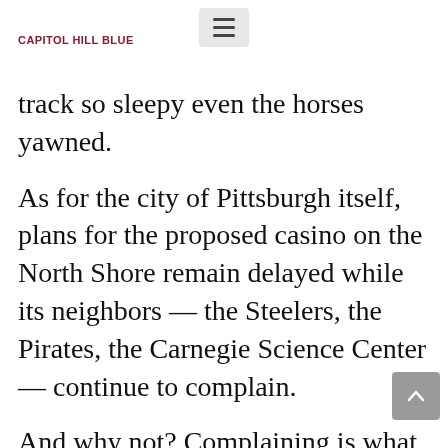CAPITOL HILL BLUE
track so sleepy even the horses yawned.
As for the city of Pittsburgh itself, plans for the proposed casino on the North Shore remain delayed while its neighbors — the Steelers, the Pirates, the Carnegie Science Center — continue to complain.
And why not? Complaining is what we do best in these parts and it is no surprise that complaining has become a team event with a little science thrown in. Why,